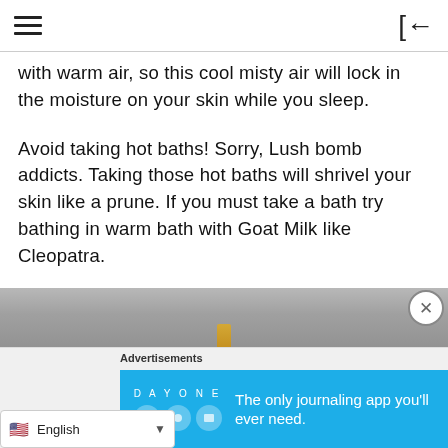with warm air, so this cool misty air will lock in the moisture on your skin while you sleep.
Avoid taking hot baths!  Sorry, Lush bomb addicts.  Taking those hot baths will shrivel your skin like a prune.  If you must take a bath try bathing in warm bath with Goat Milk like Cleopatra.
[Figure (photo): A partial photo showing a metal bathtub edge with a candle]
Advertisements
[Figure (screenshot): Day One journaling app advertisement banner: 'The only journaling app you'll ever need.' with app icons on blue background]
English